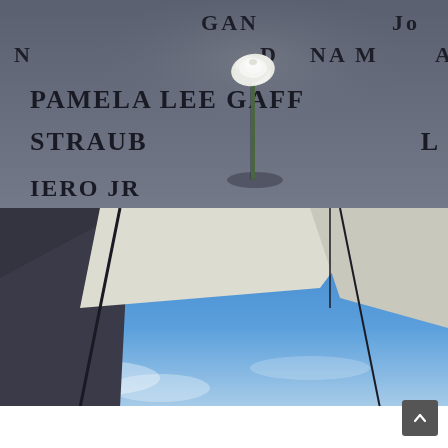HOME | DESCRIPTION | LISTING FEATURES | PHO
[Figure (photo): Close-up photo of the 9/11 Memorial bronze parapet with engraved names including PAMELA LEE GAFF, STRAUB, IERO JR, and partial names GAN, JO, N, DIANA MA, L. A single white rose is placed in one of the letter cutouts, casting a shadow on the dark bronze surface.]
[Figure (photo): Upward-looking photo of angular dark and white stone or concrete architectural elements against a bright blue sky with some cloud. The structures appear to be the World Trade Center or related memorial architecture with sharp geometric lines.]